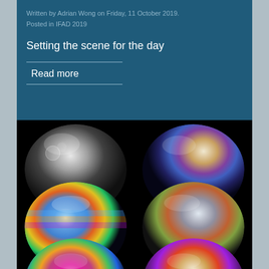Written by Adrian Wong on Friday, 11 October 2019. Posted in IFAD 2019
Setting the scene for the day
Read more
[Figure (illustration): Six iridescent soap bubble hemispheres arranged in a 2x3 grid on a black background, each labeled with a word from the acronym FOAMed: Free, Open, Access, Medical, Education, #FOAMed]